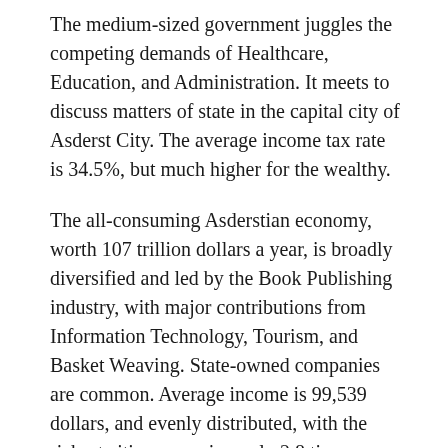The medium-sized government juggles the competing demands of Healthcare, Education, and Administration. It meets to discuss matters of state in the capital city of Asderst City. The average income tax rate is 34.5%, but much higher for the wealthy.
The all-consuming Asderstian economy, worth 107 trillion dollars a year, is broadly diversified and led by the Book Publishing industry, with major contributions from Information Technology, Tourism, and Basket Weaving. State-owned companies are common. Average income is 99,539 dollars, and evenly distributed, with the richest citizens earning only 2.8 times as much as the poorest.
Private pharmacies close down as medicinal drugs are given away freely by the government, programmers often reinvent the wheel, online weather reports are predicting five years of glorious sunshine for Asderst, and the government is hoping that medical aid will speak louder than human rights abuses. Crime, especially youth-related, is totally unknown, thanks to